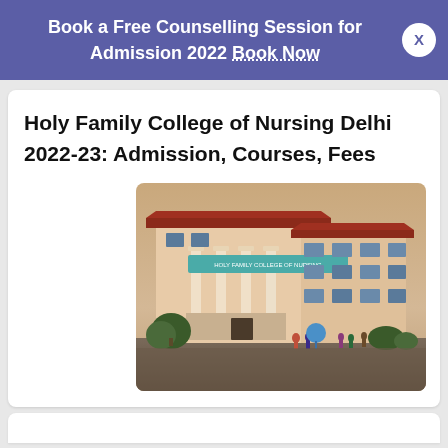Book a Free Counselling Session for Admission 2022 Book Now
Holy Family College of Nursing Delhi 2022-23: Admission, Courses, Fees
[Figure (photo): Photo of Holy Family College of Nursing building exterior — a multi-storey cream/peach building with large white columns at the entrance, red-tiled roof overhangs, multiple windows, and people gathered in front on a courtyard.]